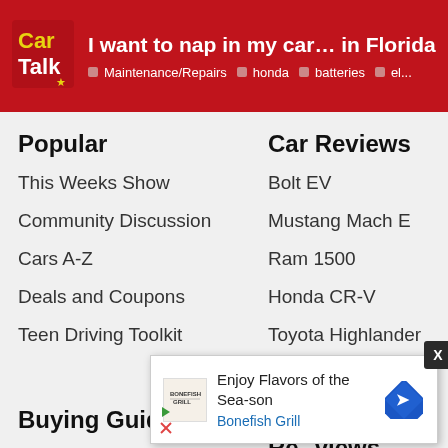I want to nap in my car… in Florida | Maintenance/Repairs · honda · batteries · el...
Popular
This Weeks Show
Community Discussion
Cars A-Z
Deals and Coupons
Teen Driving Toolkit
Car Reviews
Bolt EV
Mustang Mach E
Ram 1500
Honda CR-V
Toyota Highlander
Buying Guides
Product Reviews
Insura...
Driver...
Exten...ing
[Figure (screenshot): Advertisement overlay: Enjoy Flavors of the Sea-son — Bonefish Grill, with navigation/close controls]